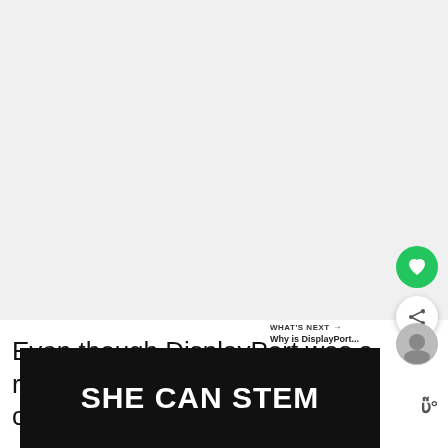[Figure (screenshot): Large white/grey content area at top of page, likely an advertisement or image placeholder]
Even though DisplayPort was a royalty product, it still could not counter the growing de...
[Figure (infographic): Black banner advertisement reading 'SHE CAN STEM' in large white bold text, with a small 'W' logo on the right]
WHAT'S NEXT → Why is DisplayPort...